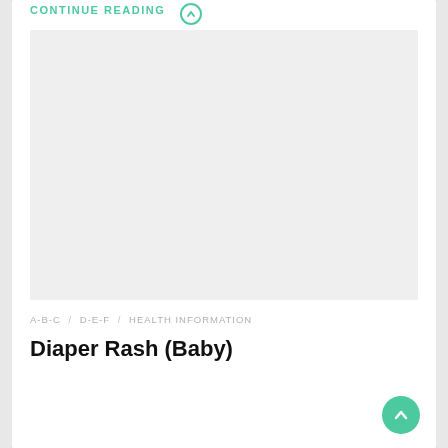CONTINUE READING
[Figure (photo): Large light gray placeholder image area for a medical article about Diaper Rash (Baby)]
A-B-C / D-E-F / HEALTH INFORMATION
Diaper Rash (Baby)